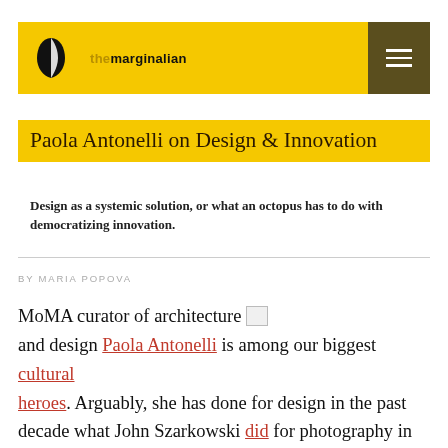the marginalian
Paola Antonelli on Design & Innovation
Design as a systemic solution, or what an octopus has to do with democratizing innovation.
BY MARIA POPOVA
MoMA curator of architecture and design Paola Antonelli is among our biggest cultural heroes. Arguably, she has done for design in the past decade what John Szarkowski did for photography in the 1960s — create a cultural dialogue beyond aesthetic appreciation, crafting a space for design as social